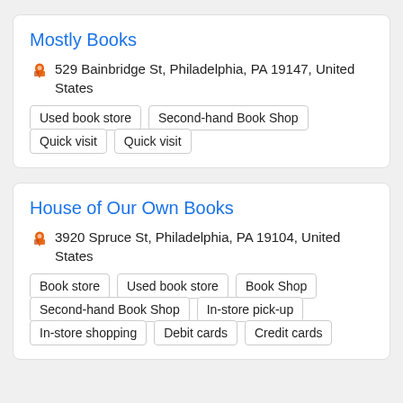Mostly Books
529 Bainbridge St, Philadelphia, PA 19147, United States
Used book store
Second-hand Book Shop
Quick visit
Quick visit
House of Our Own Books
3920 Spruce St, Philadelphia, PA 19104, United States
Book store
Used book store
Book Shop
Second-hand Book Shop
In-store pick-up
In-store shopping
Debit cards
Credit cards